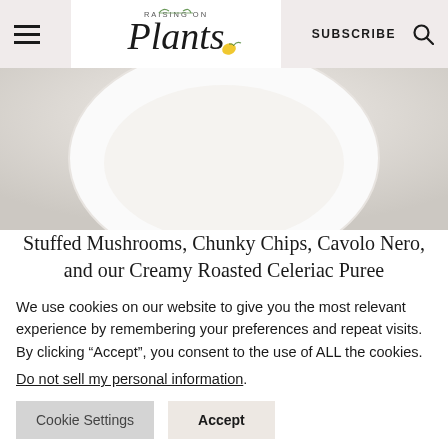Raising on Plants — navigation bar with hamburger menu, logo, SUBSCRIBE, and search icon
[Figure (photo): Cropped top of a white bowl or plate on a light grey/beige background, partially visible]
Stuffed Mushrooms, Chunky Chips, Cavolo Nero, and our Creamy Roasted Celeriac Puree
We use cookies on our website to give you the most relevant experience by remembering your preferences and repeat visits. By clicking “Accept”, you consent to the use of ALL the cookies.
Do not sell my personal information.
Cookie Settings   Accept